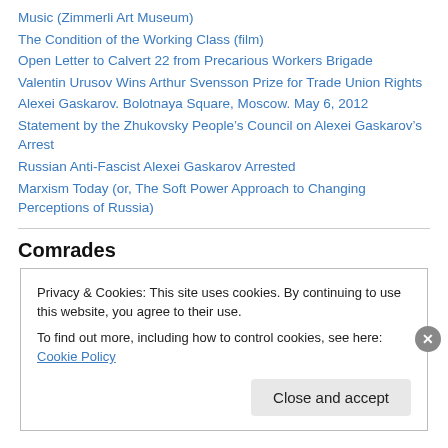Music (Zimmerli Art Museum)
The Condition of the Working Class (film)
Open Letter to Calvert 22 from Precarious Workers Brigade
Valentin Urusov Wins Arthur Svensson Prize for Trade Union Rights
Alexei Gaskarov. Bolotnaya Square, Moscow. May 6, 2012
Statement by the Zhukovsky People's Council on Alexei Gaskarov's Arrest
Russian Anti-Fascist Alexei Gaskarov Arrested
Marxism Today (or, The Soft Power Approach to Changing Perceptions of Russia)
Comrades
Privacy & Cookies: This site uses cookies. By continuing to use this website, you agree to their use.
To find out more, including how to control cookies, see here: Cookie Policy
Close and accept